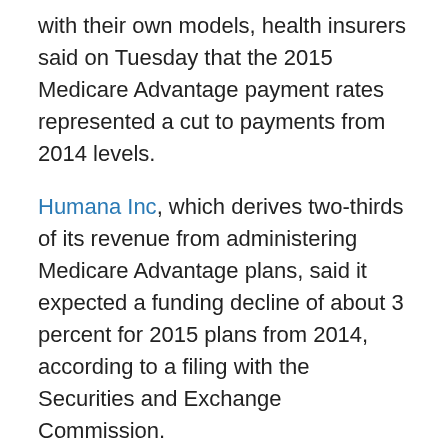with their own models, health insurers said on Tuesday that the 2015 Medicare Advantage payment rates represented a cut to payments from 2014 levels.
Humana Inc, which derives two-thirds of its revenue from administering Medicare Advantage plans, said it expected a funding decline of about 3 percent for 2015 plans from 2014, according to a filing with the Securities and Exchange Commission.
This is slightly better than Humana's initial forecast for a drop of 3.5 percent to 4 percent in those rates, based on the proposal issued on February 21.
Aetna Inc, which also provides Medicare Advantage plans, said it also anticipated a decline.
“Despite CMS’s actions, Medicare Advantage plans will